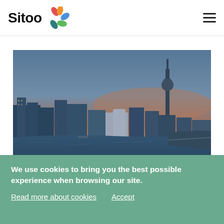Sitoo [logo]
[Figure (photo): Aerial cityscape photo of Düsseldorf at sunset showing the Rhine River, Medienhafen harbor, modern buildings, and the Rheinturm telecommunications tower with orange and blue twilight sky.]
We use cookies to bring you the best possible experience when browsing our site.
Read more about cookies   Accept